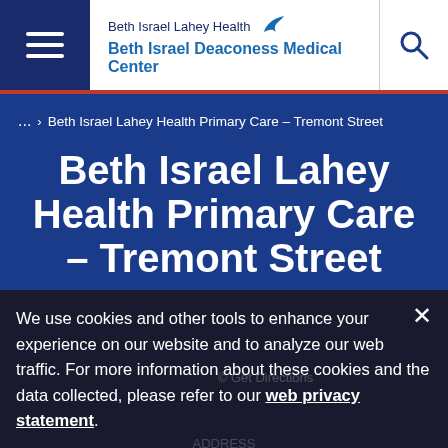[Figure (logo): Beth Israel Lahey Health bird logo with text 'Beth Israel Lahey Health' and 'Beth Israel Deaconess Medical Center']
... > Beth Israel Lahey Health Primary Care – Tremont Street
Beth Israel Lahey Health Primary Care – Tremont Street
We use cookies and other tools to enhance your experience on our website and to analyze our web traffic. For more information about these cookies and the data collected, please refer to our web privacy statement.